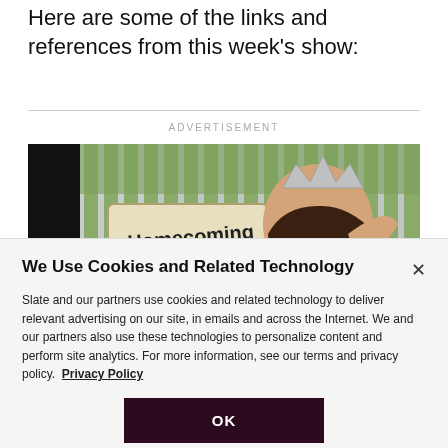Here are some of the links and references from this week's show:
[Figure (photo): Advertisement image showing a young woman wearing a crown near a fence with a 'Homecoming Queens' sign]
We Use Cookies and Related Technology
Slate and our partners use cookies and related technology to deliver relevant advertising on our site, in emails and across the Internet. We and our partners also use these technologies to personalize content and perform site analytics. For more information, see our terms and privacy policy.  Privacy Policy
OK